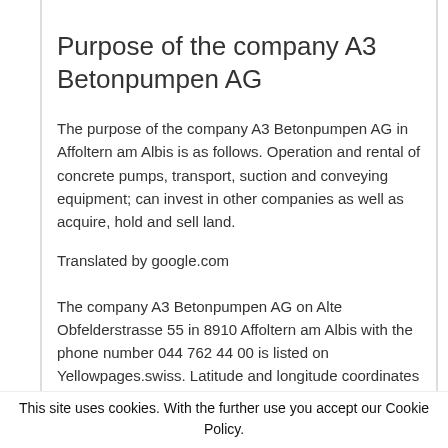Purpose of the company A3 Betonpumpen AG
The purpose of the company A3 Betonpumpen AG in Affoltern am Albis is as follows. Operation and rental of concrete pumps, transport, suction and conveying equipment; can invest in other companies as well as acquire, hold and sell land.
Translated by google.com
The company A3 Betonpumpen AG on Alte Obfelderstrasse 55 in 8910 Affoltern am Albis with the phone number 044 762 44 00 is listed on Yellowpages.swiss. Latitude and longitude coordinates for A3 Betonpumpen AG are: 47.2735133 and 8.4410356. The unique
This site uses cookies. With the further use you accept our Cookie Policy.